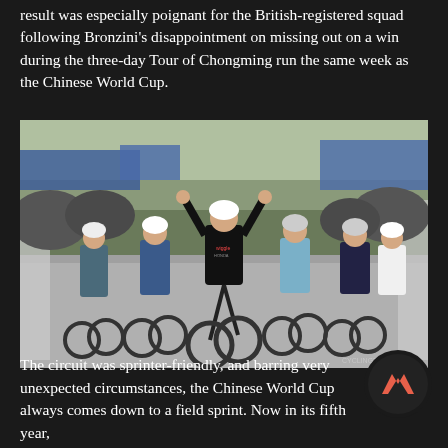result was especially poignant for the British-registered squad following Bronzini's disappointment on missing out on a win during the three-day Tour of Chongming run the same week as the Chinese World Cup.
[Figure (photo): Cyclists at a road race finish line. The central rider in a black Wiggle Honda kit raises both arms in victory. Multiple cyclists surround them approaching the finish line in front of a crowd.]
The circuit was sprinter-friendly, and barring very unexpected circumstances, the Chinese World Cup always comes down to a field sprint. Now in its fifth year,